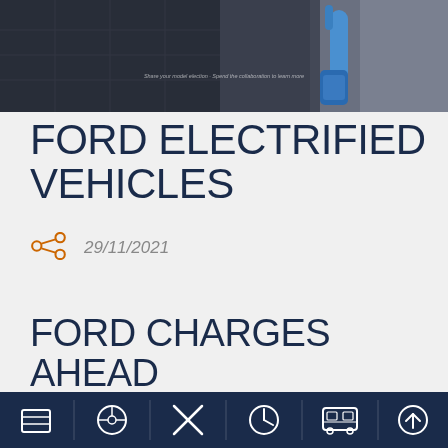[Figure (photo): Photo of an electric vehicle charging port with a blue charging cable plugged in, showing the vehicle underside and charging station, dark tiled floor visible]
FORD ELECTRIFIED VEHICLES
29/11/2021
FORD CHARGES AHEAD IN AN ELECTRIC ERA
[Figure (other): Dark navy navigation bar with 6 icons: menu/grid, steering wheel, tools/wrench cross, clock/time, bus/vehicle, upload/arrow up]